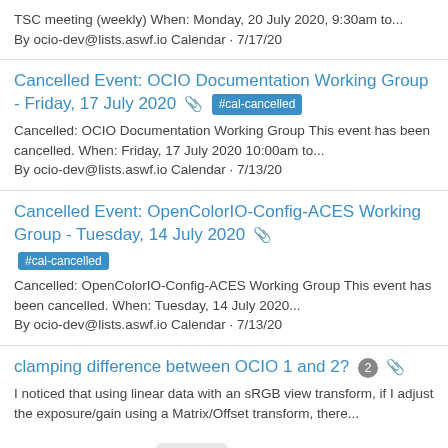TSC meeting (weekly) When: Monday, 20 July 2020, 9:30am to... By ocio-dev@lists.aswf.io Calendar · 7/17/20
Cancelled Event: OCIO Documentation Working Group - Friday, 17 July 2020 #cal-cancelled
Cancelled: OCIO Documentation Working Group This event has been cancelled. When: Friday, 17 July 2020 10:00am to...
By ocio-dev@lists.aswf.io Calendar · 7/13/20
Cancelled Event: OpenColorIO-Config-ACES Working Group - Tuesday, 14 July 2020 #cal-cancelled
Cancelled: OpenColorIO-Config-ACES Working Group This event has been cancelled. When: Tuesday, 14 July 2020...
By ocio-dev@lists.aswf.io Calendar · 7/13/20
clamping difference between OCIO 1 and 2? 2
I noticed that using linear data with an sRGB view transform, if I adjust the exposure/gain using a Matrix/Offset transform, there...